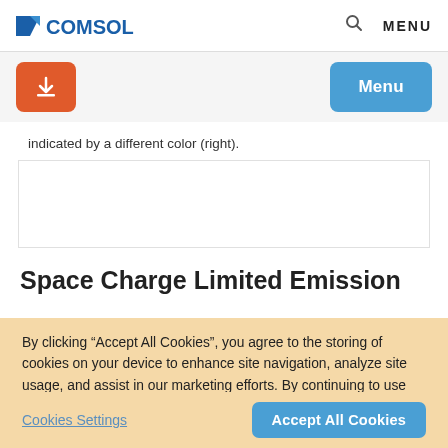COMSOL | Search | MENU
indicated by a different color (right).
Space Charge Limited Emission
By clicking “Accept All Cookies”, you agree to the storing of cookies on your device to enhance site navigation, analyze site usage, and assist in our marketing efforts. By continuing to use our site, you agree to our use of cookies.
Cookies Settings
Accept All Cookies